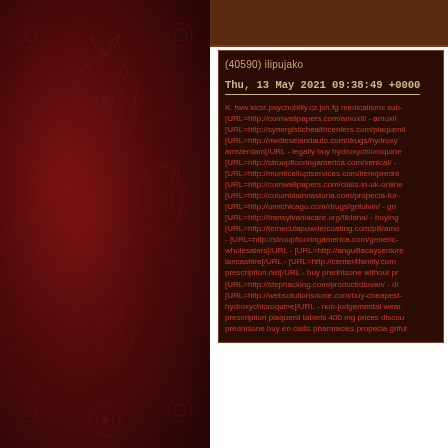[Figure (illustration): Dark red floral/damask patterned background panel on the left side of the page]
(40590) ilipujako
Thu, 13 May 2021 09:38:49 +0000
K. tww.kicst.psychobilly.cz.jsn.fg medicalisms sub- [URL=http://comwallpapers.com/amoxil/ - amoxil [URL=http://synergistichealthcenters.com/plaquenil [URL=http://nwdieselandauto.com/drugs/hydroxy amsterdam[/URL - legally buy hydroxychloroquine [URL=http://stroupflooringamerica.com/xenical/ - [URL=http://monticelloptservices.com/item/predni [URL=http://comwallpapers.com/cialis-in-uk-online [URL=http://columbiainnastoria.com/propecia-for- [URL=http://umichicago.com/drugs/grifulvin/ - gri [URL=http://transylvaniacare.org/fildena/ - buying [URL=http://temeculapowdercoating.com/pill/amo - [URL=http://stroupflooringamerica.com/generic- wholesalers[/URL - [URL=http://anguillacayseniore lancashire[/URL - [URL=http://center4family.com prescription.net[/URL - buy prednisone without pr [URL=http://stephacking.com/product/diovan/ - di [URL=http://websolutionsdone.com/buy-cheapest- hydroxychloroquine[/URL - non-judgemental wear prescription plaquenil tablets 400 mg prices discou prednisone buy en cialis pharmacies propecia griful